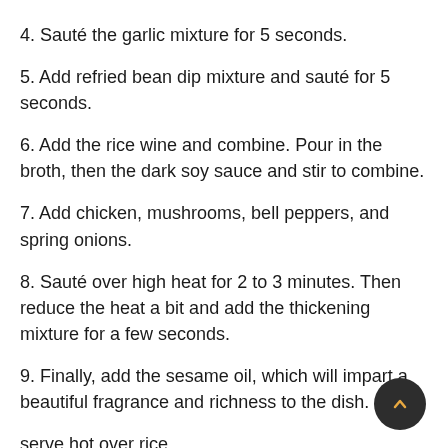4. Sauté the garlic mixture for 5 seconds.
5. Add refried bean dip mixture and sauté for 5 seconds.
6. Add the rice wine and combine. Pour in the broth, then the dark soy sauce and stir to combine.
7. Add chicken, mushrooms, bell peppers, and spring onions.
8. Sauté over high heat for 2 to 3 minutes. Then reduce the heat a bit and add the thickening mixture for a few seconds.
9. Finally, add the sesame oil, which will impart a beautiful fragrance and richness to the dish.
serve hot over rice